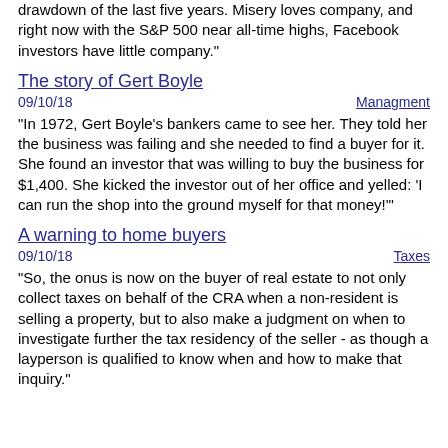drawdown of the last five years. Misery loves company, and right now with the S&P 500 near all-time highs, Facebook investors have little company."
The story of Gert Boyle
09/10/18
Managment
"In 1972, Gert Boyle's bankers came to see her. They told her the business was failing and she needed to find a buyer for it. She found an investor that was willing to buy the business for $1,400. She kicked the investor out of her office and yelled: 'I can run the shop into the ground myself for that money!'"
A warning to home buyers
09/10/18
Taxes
"So, the onus is now on the buyer of real estate to not only collect taxes on behalf of the CRA when a non-resident is selling a property, but to also make a judgment on when to investigate further the tax residency of the seller - as though a layperson is qualified to know when and how to make that inquiry."